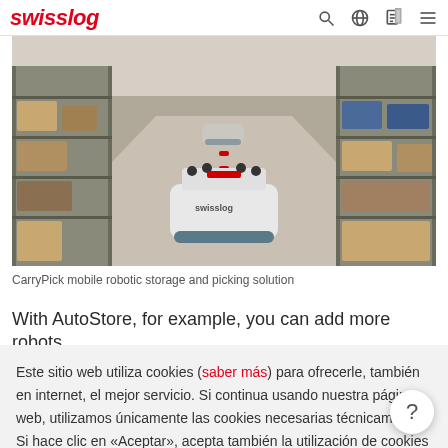swisslog
[Figure (photo): A Swisslog CarryPick autonomous mobile robot moving through a warehouse aisle lined with metal shelving units containing boxes and goods.]
CarryPick  mobile robotic storage and picking solution
With AutoStore, for example, you can add more robots
Este sitio web utiliza cookies (saber más) para ofrecerle, también en internet, el mejor servicio. Si continua usando nuestra página web, utilizamos únicamente las cookies necesarias técnicamente. Si hace clic en «Aceptar», acepta también la utilización de cookies de